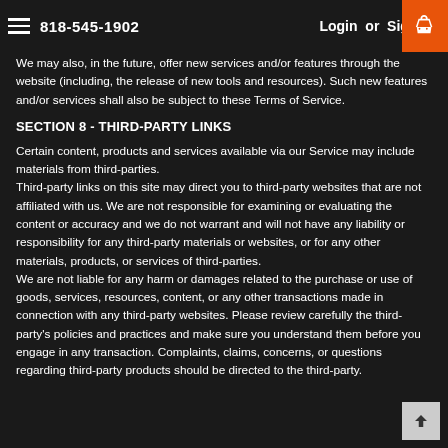818-545-1902  Login or Sign Up
We may also, in the future, offer new services and/or features through the website (including, the release of new tools and resources). Such new features and/or services shall also be subject to these Terms of Service.
SECTION 8 - THIRD-PARTY LINKS
Certain content, products and services available via our Service may include materials from third-parties.
Third-party links on this site may direct you to third-party websites that are not affiliated with us. We are not responsible for examining or evaluating the content or accuracy and we do not warrant and will not have any liability or responsibility for any third-party materials or websites, or for any other materials, products, or services of third-parties.
We are not liable for any harm or damages related to the purchase or use of goods, services, resources, content, or any other transactions made in connection with any third-party websites. Please review carefully the third-party's policies and practices and make sure you understand them before you engage in any transaction. Complaints, claims, concerns, or questions regarding third-party products should be directed to the third-party.